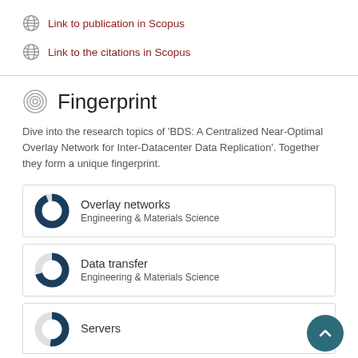Link to publication in Scopus
Link to the citations in Scopus
Fingerprint
Dive into the research topics of 'BDS: A Centralized Near-Optimal Overlay Network for Inter-Datacenter Data Replication'. Together they form a unique fingerprint.
Overlay networks
Engineering & Materials Science
Data transfer
Engineering & Materials Science
Servers